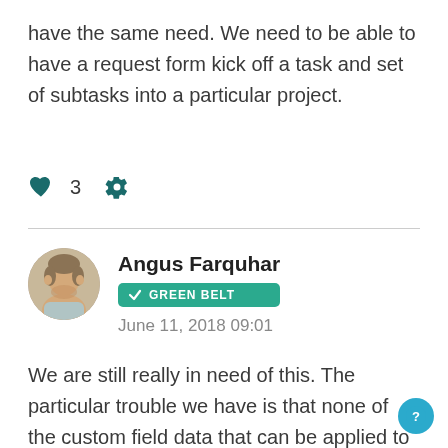have the same need. We need to be able to have a request form kick off a task and set of subtasks into a particular project.
[Figure (infographic): Heart icon with count 3 and a gear/settings icon]
Angus Farquhar
[Figure (infographic): GREEN BELT badge with checkmark]
June 11, 2018 09:01
We are still really in need of this. The particular trouble we have is that none of the custom field data that can be applied to the template project from the form is